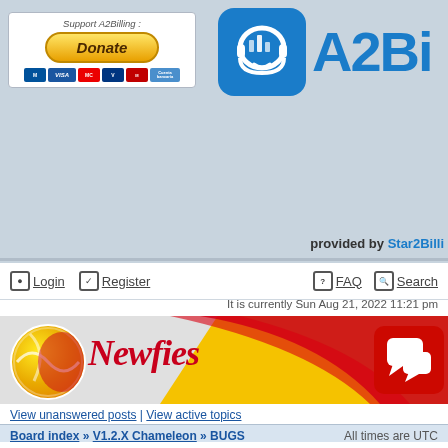[Figure (screenshot): A2Billing forum header with donate button, logo, navigation, Newfies banner, breadcrumb, and BUGS section listing]
Support A2Billing :
[Figure (logo): Donate button with payment card icons (Maestro, VISA, Mastercard, etc.)]
[Figure (logo): A2Billing logo - blue rounded square with headset icon and A2Bi text]
provided by Star2Billi
Login   Register   FAQ   Search
It is currently Sun Aug 21, 2022 11:21 pm
[Figure (illustration): Newfies forum banner with red/yellow design, tennis ball logo, cursive Newfies text, and chat icon]
View unanswered posts | View active topics
Board index » V1.2.X Chameleon » BUGS   All times are UTC
BUGS
Moderators: jroper, stavros, Moderators
Page 1 of 5  [ 245 topics ]   Go to page 1, 2, 3, 4, 5  Next